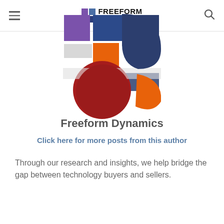Freeform Dynamics [navigation header with hamburger menu and search icon]
[Figure (logo): Freeform Dynamics logo — large version with colorful overlapping circles/shapes in purple, dark blue, red/crimson, orange, and white/grey, with FREEFORM DYNAMICS text in bold black]
Freeform Dynamics
Click here for more posts from this author
Through our research and insights, we help bridge the gap between technology buyers and sellers.